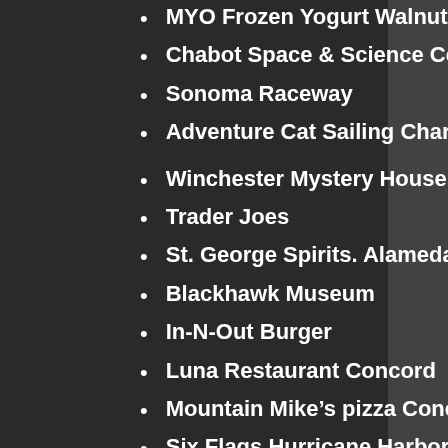MYO Frozen Yogurt Walnut Creek
Chabot Space & Science Center
Sonoma Raceway
Adventure Cat Sailing Charters
Winchester Mystery House  San Jose
Trader Joes
St. George Spirits. Alameda
Blackhawk Museum
In-N-Out Burger
Luna Restaurant Concord
Mountain Mike's pizza Concord
Six Flags Hurricane Harbor Water Park Concord
Other Donors
Buttercup Diner and Bar